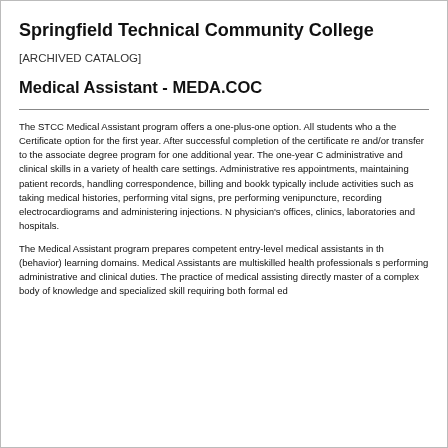Springfield Technical Community College
[ARCHIVED CATALOG]
Medical Assistant - MEDA.COC
The STCC Medical Assistant program offers a one-plus-one option. All students who a the Certificate option for the first year. After successful completion of the certificate re and/or transfer to the associate degree program for one additional year. The one-year C administrative and clinical skills in a variety of health care settings. Administrative res appointments, maintaining patient records, handling correspondence, billing and bookk typically include activities such as taking medical histories, performing vital signs, pre performing venipuncture, recording electrocardiograms and administering injections. N physician's offices, clinics, laboratories and hospitals.
The Medical Assistant program prepares competent entry-level medical assistants in th (behavior) learning domains. Medical Assistants are multiskilled health professionals s performing administrative and clinical duties. The practice of medical assisting directly master of a complex body of knowledge and specialized skill requiring both formal ed